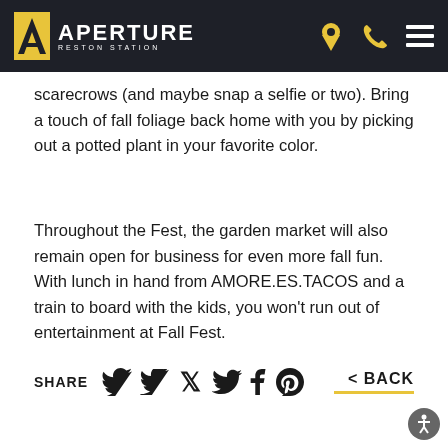APERTURE RESTON STATION
scarecrows (and maybe snap a selfie or two). Bring a touch of fall foliage back home with you by picking out a potted plant in your favorite color.
Throughout the Fest, the garden market will also remain open for business for even more fall fun. With lunch in hand from AMORE.ES.TACOS and a train to board with the kids, you won't run out of entertainment at Fall Fest.
SHARE  < BACK